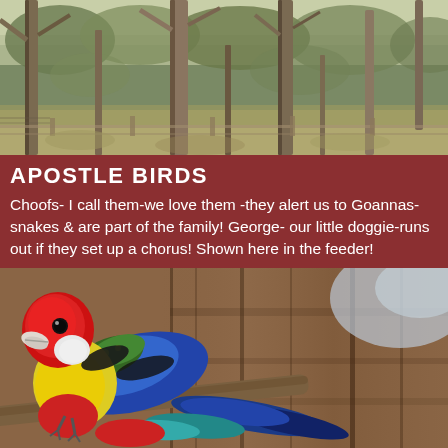[Figure (photo): Outdoor woodland scene with eucalyptus trees, dry grass ground cover, and a fence visible in the background. Australian bush landscape.]
APOSTLE BIRDS
Choofs- I call them-we love them -they alert us to Goannas-snakes & are part of the family! George- our little doggie-runs out if they set up a chorus! Shown here in the feeder!
[Figure (photo): A colourful Eastern Rosella parrot perched on a branch. The bird has a bright red head, white cheek patches, yellow and green body, and blue wings with black markings. It is sitting on a rough bark branch against a blurred tree bark background.]